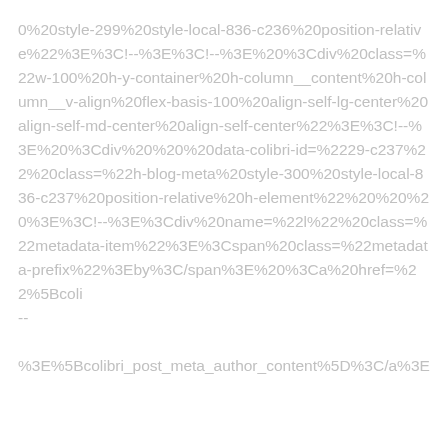0%20style-299%20style-local-836-c236%20position-relative%22%3E%3C!--%3E%3C!--%3E%20%3Cdiv%20class=%22w-100%20h-y-container%20h-column__content%20h-column__v-align%20flex-basis-100%20align-self-lg-center%20align-self-md-center%20align-self-center%22%3E%3C!--%3E%20%3Cdiv%20%20%20data-colibri-id=%2229-c237%22%20class=%22h-blog-meta%20style-300%20style-local-836-c237%20position-relative%20h-element%22%20%20%20%3E%3C!--%3E%3Cdiv%20name=%22l%22%20class=%22metadata-item%22%3E%3Cspan%20class=%22metadata-prefix%22%3Eby%3C/span%3E%20%3Ca%20href=%22%5Bcoli--%3E%5Bcolibri_post_meta_author_content%5D%3C/a%3E